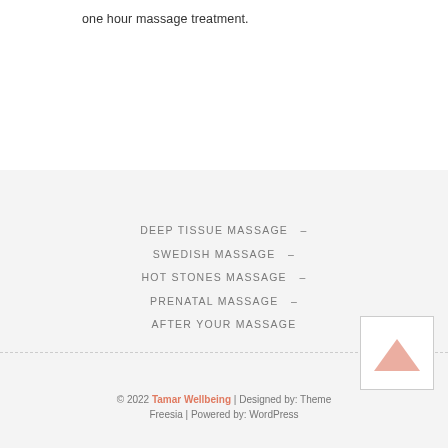one hour massage treatment.
DEEP TISSUE MASSAGE –
SWEDISH MASSAGE –
HOT STONES MASSAGE –
PRENATAL MASSAGE –
AFTER YOUR MASSAGE
© 2022 Tamar Wellbeing | Designed by: Theme Freesia | Powered by: WordPress